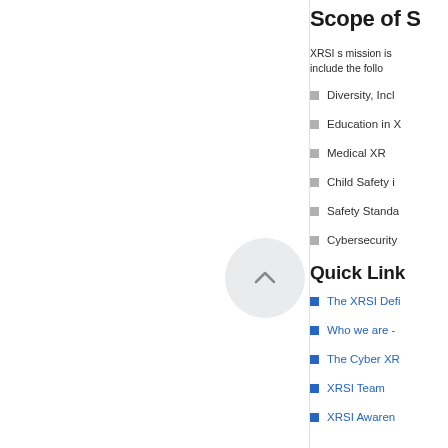[Figure (other): Left panel with white background, vertical border lines, and a circular scroll-up button in the center with a chevron/arrow pointing upward]
Scope of S
XRSI s mission is include the follo
Diversity, Incl
Education in X
Medical XR
Child Safety i
Safety Standa
Cybersecurity
Quick Link
The XRSI Defi
Who we are -
The Cyber XR
XRSI Team
XRSI Awaren